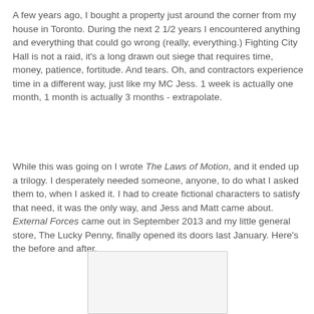A few years ago, I bought a property just around the corner from my house in Toronto. During the next 2 1/2 years I encountered anything and everything that could go wrong (really, everything.) Fighting City Hall is not a raid, it's a long drawn out siege that requires time, money, patience, fortitude. And tears. Oh, and contractors experience time in a different way, just like my MC Jess. 1 week is actually one month, 1 month is actually 3 months - extrapolate.
While this was going on I wrote The Laws of Motion, and it ended up a trilogy. I desperately needed someone, anyone, to do what I asked them to, when I asked it. I had to create fictional characters to satisfy that need, it was the only way, and Jess and Matt came about. External Forces came out in September 2013 and my little general store, The Lucky Penny, finally opened its doors last January. Here's the before and after.
[Figure (photo): A blank/white image box representing a before and after photo]